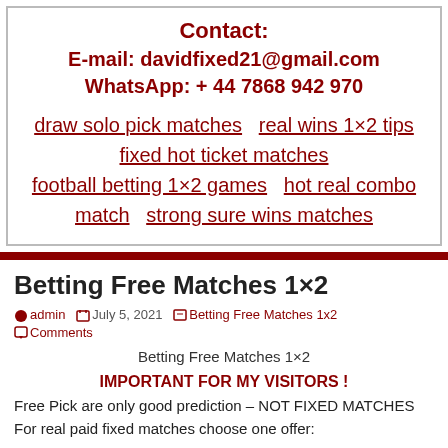Contact:
E-mail: davidfixed21@gmail.com
WhatsApp: + 44 7868 942 970
draw solo pick matches
real wins 1×2 tips
fixed hot ticket matches
football betting 1×2 games
hot real combo match
strong sure wins matches
Betting Free Matches 1×2
admin  July 5, 2021  Betting Free Matches 1x2
Comments
Betting Free Matches 1×2
IMPORTANT FOR MY VISITORS !
Free Pick are only good prediction – NOT FIXED MATCHES
For real paid fixed matches choose one offer: